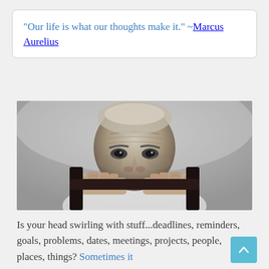“Our life is what our thoughts make it.” ~Marcus Aurelius
[Figure (photo): Black and white photograph of an older man with a deeply lined face, resting his chin and hands on what appears to be a wooden chair back, staring intensely at the camera.]
Is your head swirling with stuff...deadlines, reminders, goals, problems, dates, meetings, projects, people, places, things? Sometimes it